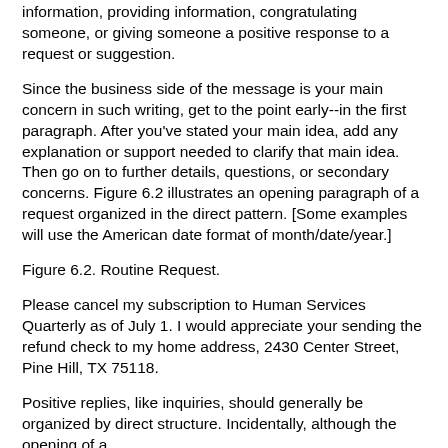information, providing information, congratulating someone, or giving someone a positive response to a request or suggestion.
Since the business side of the message is your main concern in such writing, get to the point early--in the first paragraph. After you've stated your main idea, add any explanation or support needed to clarify that main idea. Then go on to further details, questions, or secondary concerns. Figure 6.2 illustrates an opening paragraph of a request organized in the direct pattern. [Some examples will use the American date format of month/date/year.]
Figure 6.2. Routine Request.
Please cancel my subscription to Human Services Quarterly as of July 1. I would appreciate your sending the refund check to my home address, 2430 Center Street, Pine Hill, TX 75118.
Positive replies, like inquiries, should generally be organized by direct structure. Incidentally, although the opening of a positive reply indicates that the news is good, it is wr...